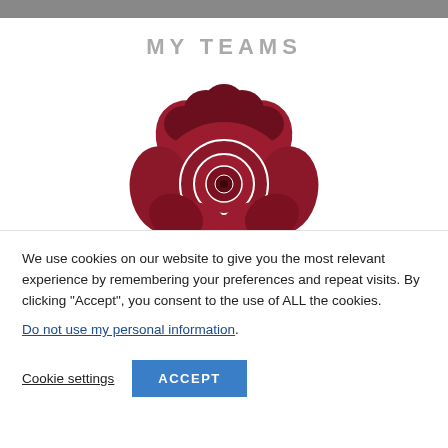MY TEAMS
[Figure (logo): England Rugby red rose logo — a stylized red rose with white outline details on a white background]
We use cookies on our website to give you the most relevant experience by remembering your preferences and repeat visits. By clicking “Accept”, you consent to the use of ALL the cookies.
Do not use my personal information.
Cookie settings    ACCEPT